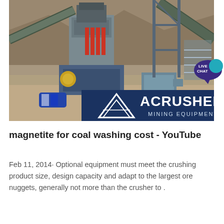[Figure (photo): Industrial mining/crushing equipment installation at an outdoor site with conveyor belts, machinery, and rocky background. Overlaid with ACRUSHER MINING EQUIPMENT logo and branding in the lower portion of the image.]
magnetite for coal washing cost - YouTube
Feb 11, 2014· Optional equipment must meet the crushing product size, design capacity and adapt to the largest ore nuggets, generally not more than the crusher to .